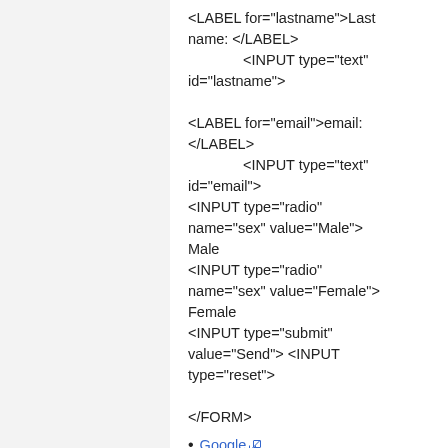<LABEL for="lastname">Last name: </LABEL>
    <INPUT type="text" id="lastname">
<LABEL for="email">email: </LABEL>
    <INPUT type="text" id="email">
    <INPUT type="radio" name="sex" value="Male"> Male
    <INPUT type="radio" name="sex" value="Female"> Female
    <INPUT type="submit" value="Send"> <INPUT type="reset">
</FORM>
Google